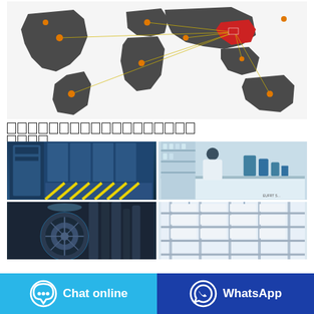[Figure (map): World map with dark gray continents showing trade routes/connections radiating from China (highlighted in red) to various countries marked with orange/yellow dots, connected by yellow lines.]
▪▪▪▪▪▪▪▪▪▪▪▪▪▪▪▪▪▪▪▪▪▪
[Figure (photo): Four photos showing manufacturing/laboratory facilities: top-left shows industrial equipment with yellow safety markings, top-right shows a lab worker in white coat, bottom-left shows large industrial machinery/reels, bottom-right shows clean room/warehouse shelving.]
Chat online
WhatsApp